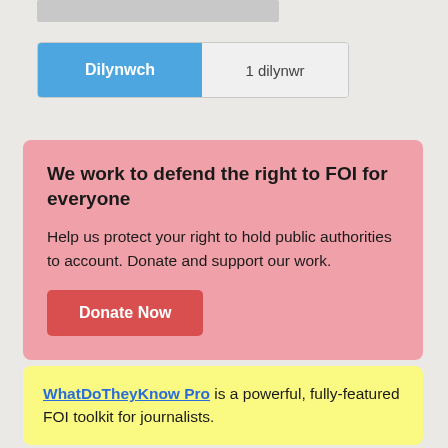[Figure (other): Grey placeholder bar at top]
Dilynwch  1 dilynwr
We work to defend the right to FOI for everyone

Help us protect your right to hold public authorities to account. Donate and support our work.

Donate Now
WhatDoTheyKnow Pro is a powerful, fully-featured FOI toolkit for journalists.